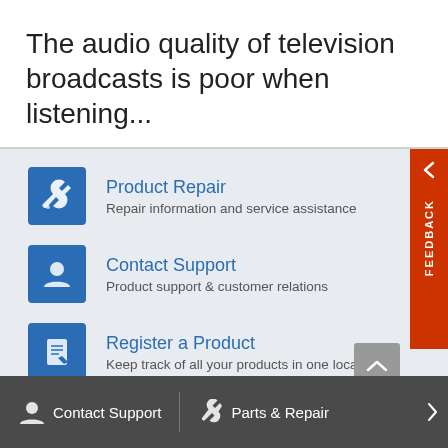The audio quality of television broadcasts is poor when listening...
Product Repair — Repair information and service assistance
Contact Support — Product support & customer relations
Register a Product — Keep track of all your products in one location
Contact Support   Parts & Repair